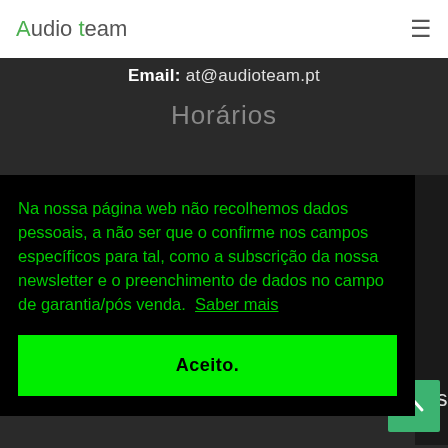Audio Team (logo) | hamburger menu
Email: at@audioteam.pt
Horários
Na nossa página web não recolhemos dados pessoais, a não ser que o confirme nos campos específicos para tal, como a subscrição da nossa newsletter e o preenchimento de dados no campo de garantia/pós venda. Saber mais
Aceito.
eitos